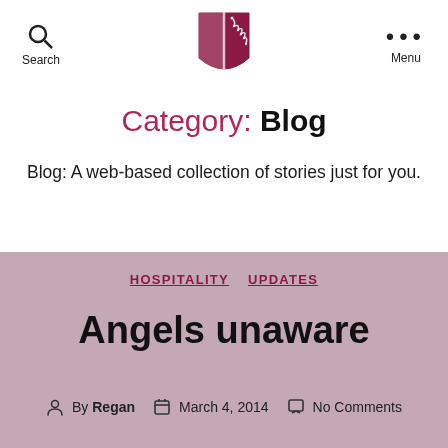Search | [Logo] | Menu
Category: Blog
Blog: A web-based collection of stories just for you.
HOSPITALITY  UPDATES
Angels unaware
By Regan   March 4, 2014   No Comments